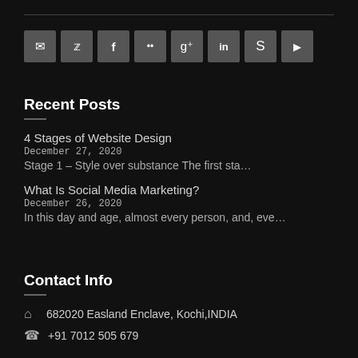[Figure (other): Row of social media icon buttons: email, Twitter, Facebook, Flickr, Google+, LinkedIn, Skype, YouTube]
Recent Posts
4 Stages of Website Design
December 27, 2020
Stage 1 – Style over substance The first sta…
What Is Social Media Marketing?
December 26, 2020
In this day and age, almost every person, and, eve…
Contact Info
682020 Easland Enclave, Kochi,INDIA
+91 7012 505 679